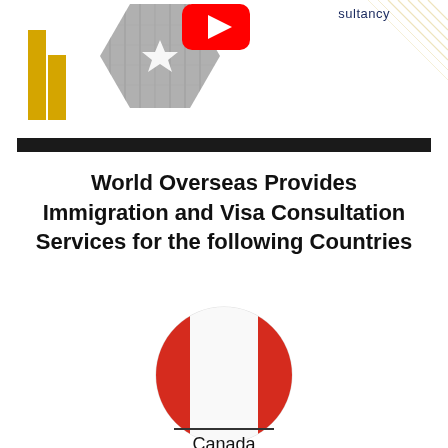[Figure (illustration): Header with hexagonal architectural photo collage, yellow rectangles on the left, YouTube play button icon in center, 'consultancy' text top right, diagonal gold lines top right corner]
World Overseas Provides Immigration and Visa Consultation Services for the following Countries
[Figure (illustration): Circular Canadian flag icon showing red and white maple leaf design]
Canada